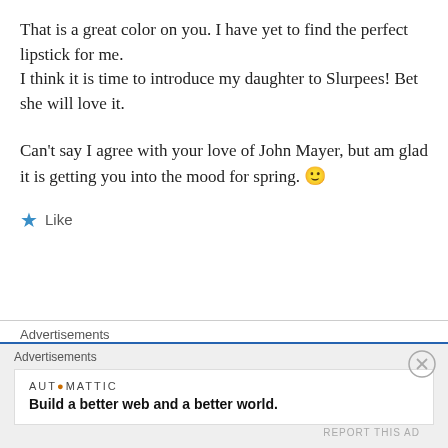That is a great color on you. I have yet to find the perfect lipstick for me.
I think it is time to introduce my daughter to Slurpees! Bet she will love it.
Can’t say I agree with your love of John Mayer, but am glad it is getting you into the mood for spring. 🙂
★ Like
Advertisements
Advertisements
AUT●MATTIC
Build a better web and a better world.